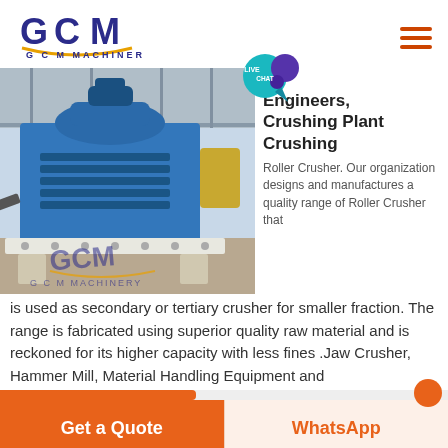[Figure (logo): GCM Machinery logo with stylized G, C, M letters in dark blue/purple and yellow arc, text 'G C M  MACHINERY' below]
[Figure (photo): Industrial blue roller crusher / crushing plant machinery photographed in a factory/warehouse setting with GCM Machinery watermark]
Engineers, Crushing Plant Crushing
Roller Crusher. Our organization designs and manufactures a quality range of Roller Crusher that is used as secondary or tertiary crusher for smaller fraction. The range is fabricated using superior quality raw material and is reckoned for its higher capacity with less fines .Jaw Crusher, Hammer Mill, Material Handling Equipment and
Get a Quote
WhatsApp